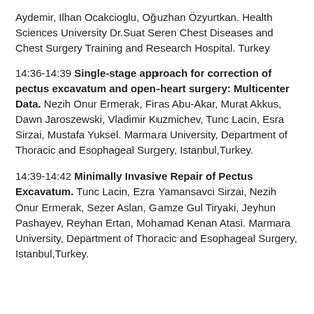Aydemir, Ilhan Ocakcioglu, Oğuzhan Özyurtkan. Health Sciences University Dr.Suat Seren Chest Diseases and Chest Surgery Training and Research Hospital. Turkey
14:36-14:39 Single-stage approach for correction of pectus excavatum and open-heart surgery: Multicenter Data. Nezih Onur Ermerak, Firas Abu-Akar, Murat Akkus, Dawn Jaroszewski, Vladimir Kuzmichev, Tunc Lacin, Esra Sirzai, Mustafa Yuksel. Marmara University, Department of Thoracic and Esophageal Surgery, Istanbul,Turkey.
14:39-14:42 Minimally Invasive Repair of Pectus Excavatum. Tunc Lacin, Ezra Yamansavci Sirzai, Nezih Onur Ermerak, Sezer Aslan, Gamze Gul Tiryaki, Jeyhun Pashayev, Reyhan Ertan, Mohamad Kenan Atasi. Marmara University, Department of Thoracic and Esophageal Surgery, Istanbul,Turkey.